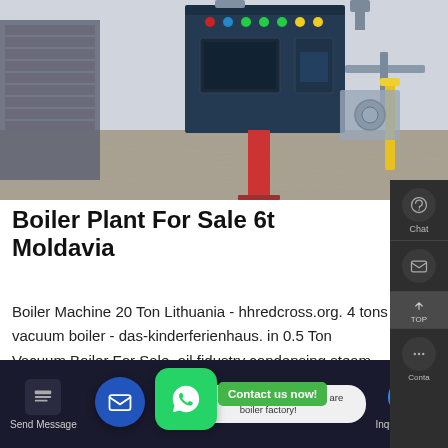[Figure (photo): Industrial boiler plant machine in a factory setting with dark blue control panel, red support column, electrical cabinet with buttons, and industrial flooring with yellow safety posts in background.]
Boiler Plant For Sale 6t Moldavia
Boiler Machine 20 Ton Lithuania - hhredcross.org. 4 tons vacuum boiler - das-kinderferienhaus. in 0.5 Ton Vacuum Boiler For Sale. oil fi dustry condensing steam boiler machi for . Free Chat Seller
Hello, I'm Rachel, Welcome! we are boiler factory!  Send Message   Inquiry Online